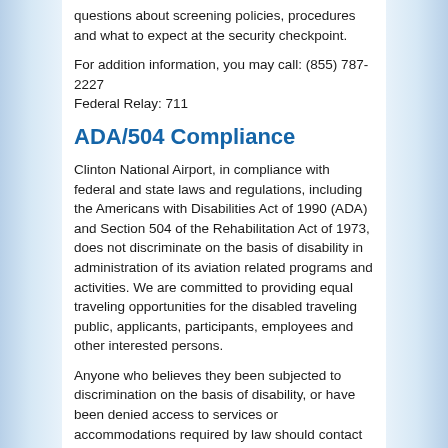questions about screening policies, procedures and what to expect at the security checkpoint.
For addition information, you may call: (855) 787-2227
Federal Relay: 711
ADA/504 Compliance
Clinton National Airport, in compliance with federal and state laws and regulations, including the Americans with Disabilities Act of 1990 (ADA) and Section 504 of the Rehabilitation Act of 1973, does not discriminate on the basis of disability in administration of its aviation related programs and activities. We are committed to providing equal traveling opportunities for the disabled traveling public, applicants, participants, employees and other interested persons.
Anyone who believes they been subjected to discrimination on the basis of disability, or have been denied access to services or accommodations required by law should contact